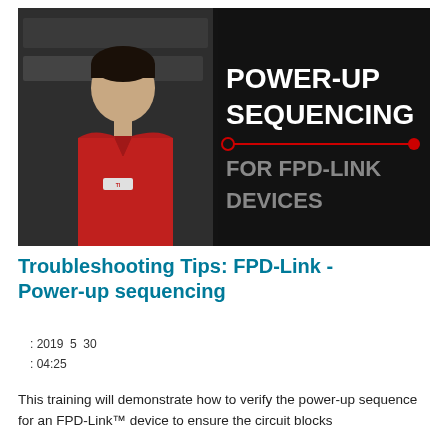[Figure (screenshot): Video thumbnail showing a man in a red Texas Instruments shirt on the left, and on the right a dark background with bold white text reading 'POWER-UP SEQUENCING' and below in gray 'FOR FPD-LINK DEVICES', with a red horizontal line between the two text sections.]
Troubleshooting Tips: FPD-Link - Power-up sequencing
: 2019  5  30
: 04:25
This training will demonstrate how to verify the power-up sequence for an FPD-Link™ device to ensure the circuit blocks